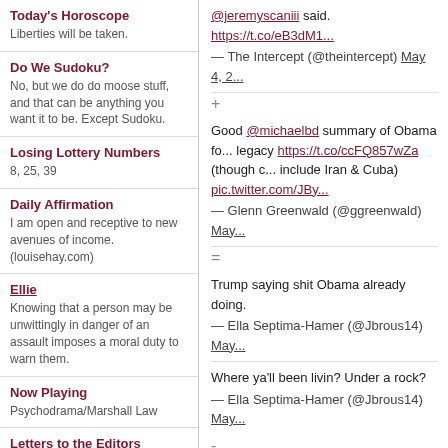Today's Horoscope
Liberties will be taken.
Do We Sudoku?
No, but we do do moose stuff, and that can be anything you want it to be. Except Sudoku.
Losing Lottery Numbers
8, 25, 39
Daily Affirmation
I am open and receptive to new avenues of income. (louisehay.com)
Ellie
Knowing that a person may be unwittingly in danger of an assault imposes a moral duty to warn them.
Now Playing
Psychodrama/Marshall Law
Letters to the Editors
FAQ
About
@jeremyscaniii said. https://t.co/eB3dM1...
— The Intercept (@theintercept) May 4, 2...
Good @michaelbd summary of Obama fo... legacy https://t.co/ccFQ857wZa (though c... include Iran & Cuba) pic.twitter.com/JBy...
— Glenn Greenwald (@ggreenwald) May...
Trump saying shit Obama already doing.
— Ella Septima-Hamer (@Jbrous14) May...
Where ya'll been livin? Under a rock?
— Ella Septima-Hamer (@Jbrous14) May...
The Beachwood Tip Line: Always on point.
Posted on May 4, 2016